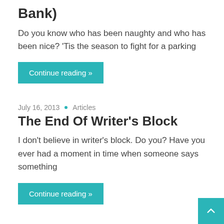Bank)
Do you know who has been naughty and who has been nice? 'Tis the season to fight for a parking
Continue reading »
July 16, 2013  •  Articles
The End Of Writer's Block
I don't believe in writer's block. Do you? Have you ever had a moment in time when someone says something
Continue reading »